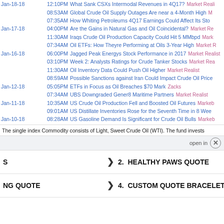Jan-18-18 12:10PM What Sank CSXs Intermodal Revenues in 4Q17? Market Realist
08:53AM Global Crude Oil Supply Outages Are near a 4-Month High M
07:35AM How Whiting Petroleums 4Q17 Earnings Could Affect Its Sto
Jan-17-18 04:00PM Are the Gains in Natural Gas and Oil Coincidental? Market Re
11:30AM Iraqs Crude Oil Production Capacity Could Hit 5 MMbpd Mark
07:34AM Oil ETFs: How Theyre Performing at Oils 3-Year High Market R
Jan-16-18 06:00PM Jagged Peak Energys Stock Performance in 2017 Market Realist
03:10PM Week 2: Analysts Ratings for Crude Tanker Stocks Market Rea
11:30AM Oil Inventory Data Could Push Oil Higher Market Realist
08:59AM Possible Sanctions against Iran Could Impact Crude Oil Price
Jan-12-18 05:05PM ETFs in Focus as Oil Breaches $70 Mark Zacks
07:34AM UBS Downgraded Gener8 Maritime Partners Market Realist
Jan-11-18 10:35AM US Crude Oil Production Fell and Boosted Oil Futures Markeb
09:01AM US Distillate Inventories Rose for the Seventh Time in 8 Wee
Jan-10-18 08:28AM US Gasoline Demand Is Significant for Crude Oil Bulls Markeb
The single index Commodity consists of Light, Sweet Crude Oil (WTI). The fund invests
open in
S   >  2. HEALTHY PAWS QUOTE
NG QUOTE   >  4. CUSTOM QUOTE BRACELETS